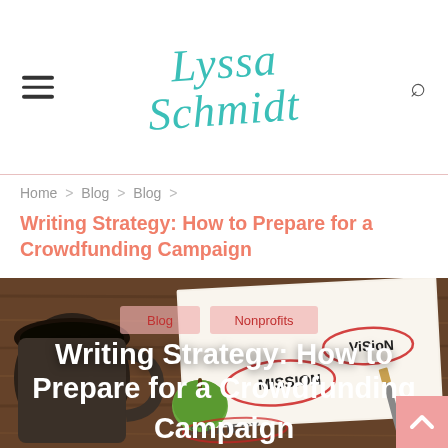Lyssa Schmidt
Home > Blog > Blog >
Writing Strategy: How to Prepare for a Crowdfunding Campaign
[Figure (photo): Background photo of a coffee mug, apple, and notepad with handwritten words MISSION, VISION, STRATEGY circled in red, on a wooden table. Two category tags 'Blog' and 'Nonprofits' overlaid near top. Large white bold title 'Writing Strategy: How to Prepare for a Crowdfunding Campaign' overlaid on the image.]